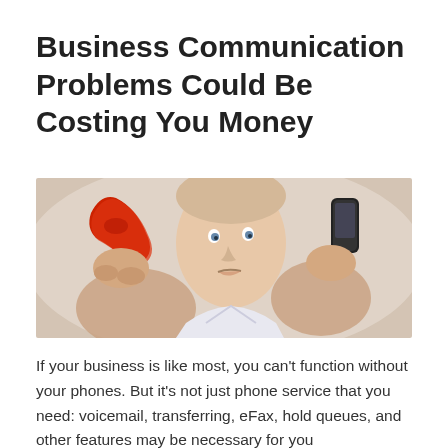Business Communication Problems Could Be Costing You Money
[Figure (photo): A stressed businessman holding two phone handsets simultaneously, one red retro phone and one modern black phone, to his ears with a frustrated expression]
If your business is like most, you can't function without your phones. But it's not just phone service that you need: voicemail, transferring, eFax, hold queues, and other features may be necessary for you